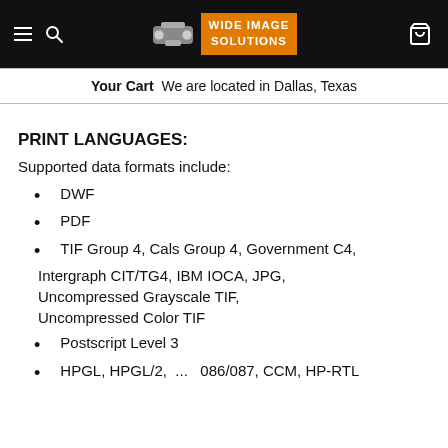Wide Image Solutions — navigation header
Your Cart   We are located in Dallas, Texas
PRINT LANGUAGES:
Supported data formats include:
DWF
PDF
TIF Group 4, Cals Group 4, Government C4, Intergraph CIT/TG4, IBM IOCA, JPG, Uncompressed Grayscale TIF, Uncompressed Color TIF
Postscript Level 3
HPGL, HPGL/2, ...